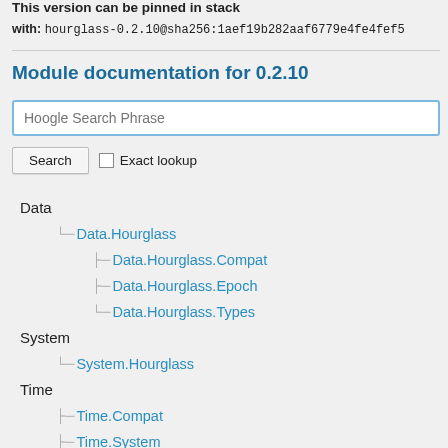This version can be pinned in stack
with: hourglass-0.2.10@sha256:1aef19b282aaf6779e4fe4fef5...
Module documentation for 0.2.10
Hoogle Search Phrase (search input placeholder)
Search  Exact lookup
Data
Data.Hourglass
Data.Hourglass.Compat
Data.Hourglass.Epoch
Data.Hourglass.Types
System
System.Hourglass
Time
Time.Compat
Time.System
Time.Types